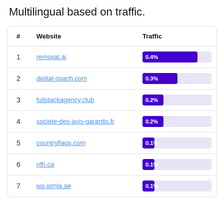Multilingual based on traffic.
| # | Website | Traffic |
| --- | --- | --- |
| 1 | removal.ai | 0.4% |
| 2 | digital-coach.com | 0.3% |
| 3 | fullstackagency.club | 0.2% |
| 4 | societe-des-avis-garantis.fr | 0.2% |
| 5 | countryflags.com | 0.1% |
| 6 | nfh.ca | 0.1% |
| 7 | wp.jomla.ae | 0.1% |